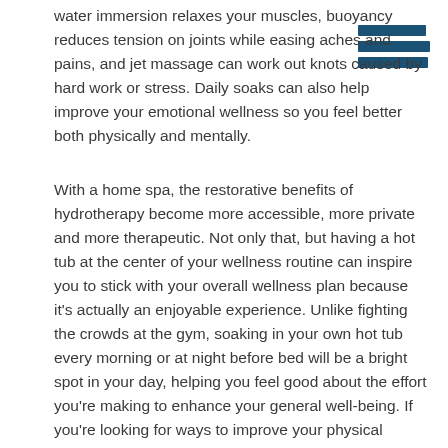water immersion relaxes your muscles, buoyancy reduces tension on joints while easing aches and pains, and jet massage can work out knots caused by hard work or stress. Daily soaks can also help improve your emotional wellness so you feel better both physically and mentally.
With a home spa, the restorative benefits of hydrotherapy become more accessible, more private and more therapeutic. Not only that, but having a hot tub at the center of your wellness routine can inspire you to stick with your overall wellness plan because it's actually an enjoyable experience. Unlike fighting the crowds at the gym, soaking in your own hot tub every morning or at night before bed will be a bright spot in your day, helping you feel good about the effort you're making to enhance your general well-being. If you're looking for ways to improve your physical wellness, consider adopting hydrotherapy into your wellness routine with a daily hot tub soak.